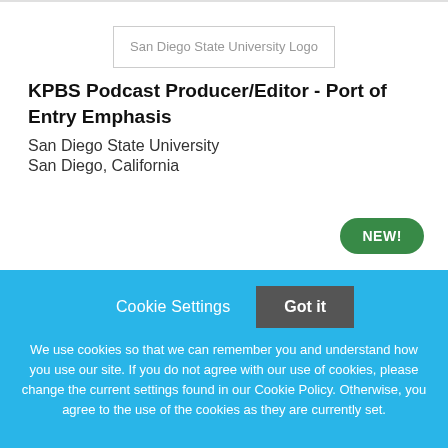[Figure (logo): San Diego State University Logo placeholder image]
KPBS Podcast Producer/Editor - Port of Entry Emphasis
San Diego State University
San Diego, California
NEW!
Cookie Settings  Got it
We use cookies so that we can remember you and understand how you use our site. If you do not agree with our use of cookies, please change the current settings found in our Cookie Policy. Otherwise, you agree to the use of the cookies as they are currently set.